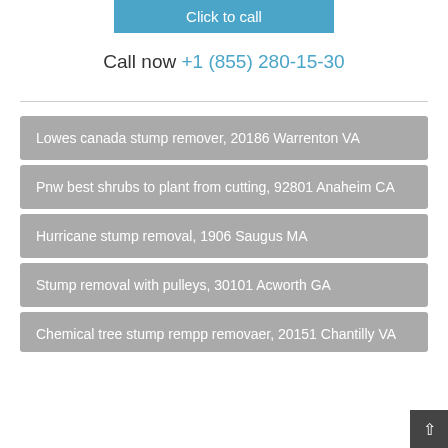Click to call
Call now +1 (855) 280-15-30
Lowes canada stump remover, 20186 Warrenton VA
Pnw best shrubs to plant from cutting, 92801 Anaheim CA
Hurricane stump removal, 1906 Saugus MA
Stump removal with pulleys, 30101 Acworth GA
Chemical tree stump rempp removaer, 20151 Chantilly VA